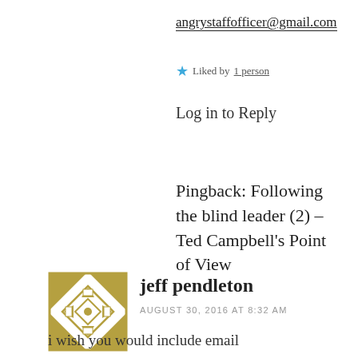angrystaffofficer@gmail.com
Liked by 1 person
Log in to Reply
Pingback: Following the blind leader (2) – Ted Campbell's Point of View
[Figure (illustration): Decorative geometric avatar icon with gold/olive colored geometric pattern on white background]
jeff pendleton
AUGUST 30, 2016 AT 8:32 AM
i wish you would include email